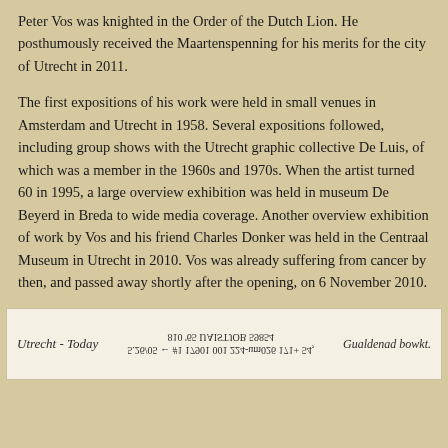Peter Vos was knighted in the Order of the Dutch Lion. He posthumously received the Maartenspenning for his merits for the city of Utrecht in 2011.
The first expositions of his work were held in small venues in Amsterdam and Utrecht in 1958. Several expositions followed, including group shows with the Utrecht graphic collective De Luis, of which was a member in the 1960s and 1970s. When the artist turned 60 in 1995, a large overview exhibition was held in museum De Beyerd in Breda to wide media coverage. Another overview exhibition of work by Vos and his friend Charles Donker was held in the Centraal Museum in Utrecht in 2010. Vos was already suffering from cancer by then, and passed away shortly after the opening, on 6 November 2010.
[Figure (other): Handwritten note or label on a lighter colored paper background showing cursive handwriting: left side reads 'Utrecht - Today', center shows upside-down printed text, right side shows a handwritten signature or description.]